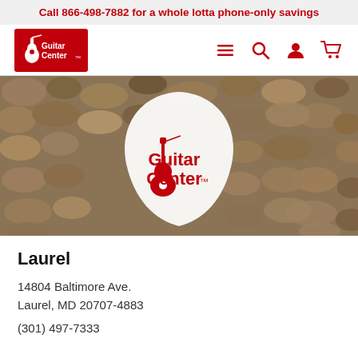Call 866-498-7882 for a whole lotta phone-only savings
[Figure (logo): Guitar Center navigation bar with logo, hamburger menu, search, account, and cart icons]
[Figure (photo): Guitar Center logo on a white guitar pick against a stone/gravel background]
Laurel
14804 Baltimore Ave.
Laurel, MD 20707-4883
(301) 497-7333